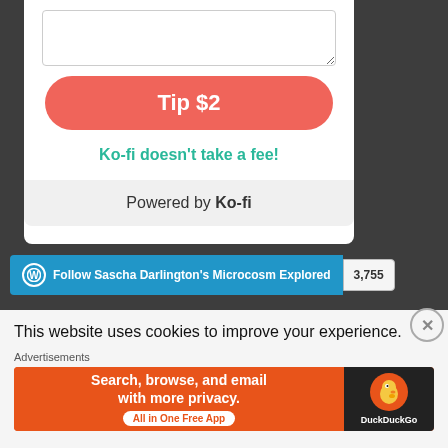[Figure (screenshot): Ko-fi tip widget showing a textarea, a salmon-colored 'Tip $2' button, and 'Ko-fi doesn't take a fee!' text in teal, with 'Powered by Ko-fi' footer on a gray background.]
Ko-fi doesn't take a fee!
Powered by Ko-fi
Follow Sascha Darlington's Microcosm Explored  3,755
This website uses cookies to improve your experience.
Advertisements
[Figure (screenshot): DuckDuckGo advertisement banner: orange background with text 'Search, browse, and email with more privacy. All in One Free App' and DuckDuckGo logo on dark right panel.]